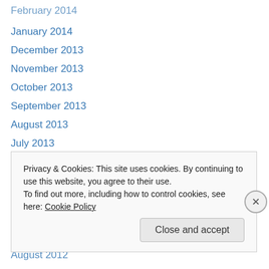February 2014
January 2014
December 2013
November 2013
October 2013
September 2013
August 2013
July 2013
June 2013
May 2013
April 2013
October 2012
September 2012
August 2012
Privacy & Cookies: This site uses cookies. By continuing to use this website, you agree to their use.
To find out more, including how to control cookies, see here: Cookie Policy